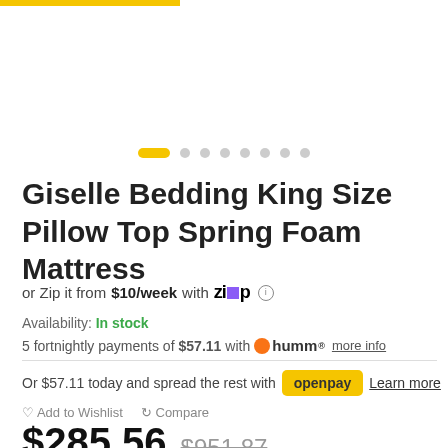[Figure (other): Yellow top bar and carousel dot navigation with one active yellow pill and 7 grey dots]
Giselle Bedding King Size Pillow Top Spring Foam Mattress
or Zip it from $10/week with Zip [info icon]
Availability: In stock
5 fortnightly payments of $57.11 with humm more info
Or $57.11 today and spread the rest with openpay Learn more
♡ Add to Wishlist  ↻ Compare
$285.56  $951.87